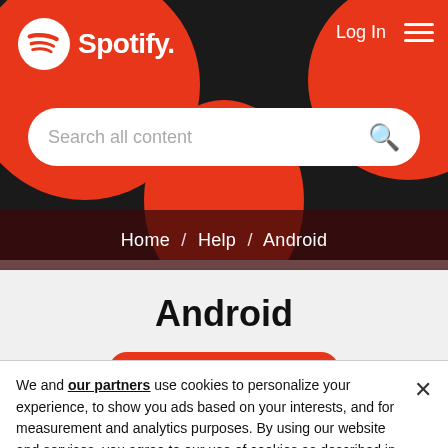[Figure (screenshot): Spotify website header with black background, two red circles decorating the corners, Spotify logo (white icon and text) in top-left, Log In text and hamburger menu in top-right, and a white rounded search bar with 'Search all content' placeholder and magnifying glass icon]
Home / Help / Android
Android
We and our partners use cookies to personalize your experience, to show you ads based on your interests, and for measurement and analytics purposes. By using our website and services, you agree to our use of cookies as described in our Cookie Policy.